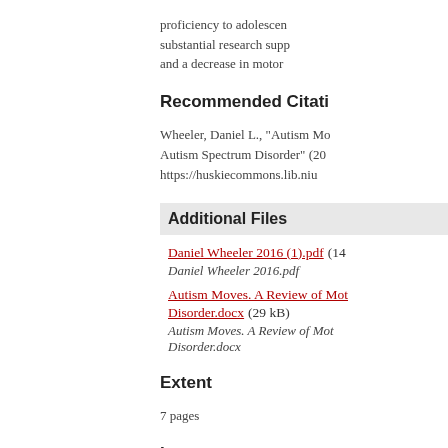proficiency to adolescen substantial research supp and a decrease in motor
Recommended Citati
Wheeler, Daniel L., "Autism Mo Autism Spectrum Disorder" (20 https://huskiecommons.lib.niu
Additional Files
Daniel Wheeler 2016 (1).pdf (14...
Daniel Wheeler 2016.pdf
Autism Moves. A Review of Mot Disorder.docx (29 kB)
Autism Moves. A Review of Mot Disorder.docx
Extent
7 pages
Language
eng